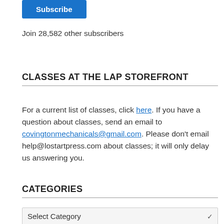Subscribe
Join 28,582 other subscribers
CLASSES AT THE LAP STOREFRONT
For a current list of classes, click here. If you have a question about classes, send an email to covingtonmechanicals@gmail.com. Please don't email help@lostartpress.com about classes; it will only delay us answering you.
CATEGORIES
Select Category